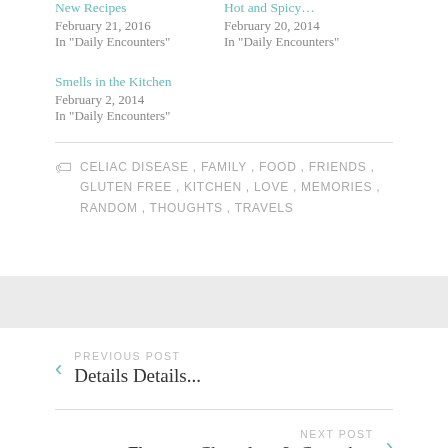New Recipes
February 21, 2016
In "Daily Encounters"
Hot and Spicy...
February 20, 2014
In "Daily Encounters"
Smells in the Kitchen
February 2, 2014
In "Daily Encounters"
CELIAC DISEASE, FAMILY, FOOD, FRIENDS, GLUTEN FREE, KITCHEN, LOVE, MEMORIES, RANDOM, THOUGHTS, TRAVELS
PREVIOUS POST
Details Details...
NEXT POST
Flowers, Chocolate & Cupcakes